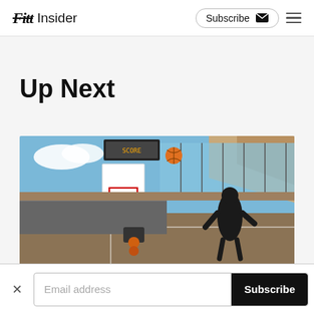Fitt Insider | Subscribe
Up Next
[Figure (photo): Virtual reality basketball court scene with a dark avatar figure near a basketball hoop, ball mid-air, large windows showing sky and clouds, rendered in 3D game-like style.]
Email address Subscribe